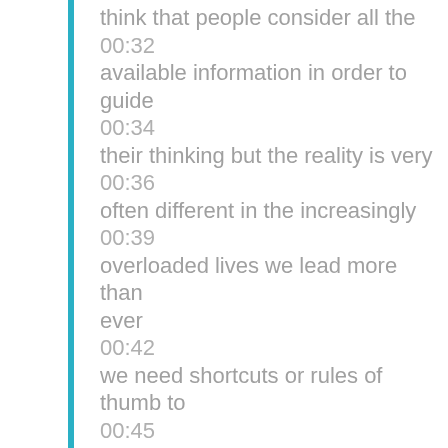think that people consider all the
00:32
available information in order to guide
00:34
their thinking but the reality is very
00:36
often different in the increasingly
00:39
overloaded lives we lead more than ever
00:42
we need shortcuts or rules of thumb to
00:45
guide our decision making my own